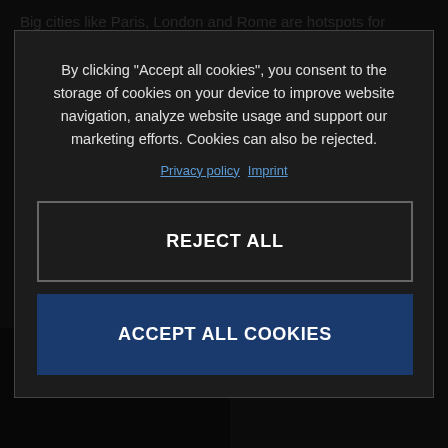Big cities like Paris, London and Rome are hotspots for international travellers, but Europe is full of hidden gems, and Lisbon is certainly one of them. It is a city that affects taste, smell, and beautiful aesthetic tilework found across its former colonies.
[Figure (photo): Darkened photo area at bottom left showing partial faces/street scene in Lisbon]
By clicking “Accept all cookies”, you consent to the storage of cookies on your device to improve website navigation, analyze website usage and support our marketing efforts. Cookies can also be rejected.
Privacy policy  Imprint
REJECT ALL
ACCEPT ALL COOKIES